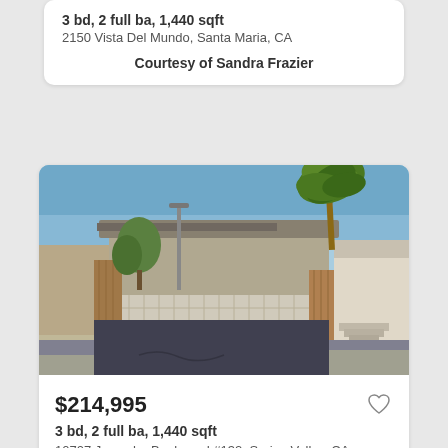3 bd, 2 full ba, 1,440 sqft
2150 Vista Del Mundo, Santa Maria, CA
Courtesy of Sandra Frazier
[Figure (photo): Exterior photo of a single-story mobile/manufactured home with carport, decorative lattice fence, palm tree, and driveway in Spring Valley, CA]
$214,995
3 bd, 2 full ba, 1,440 sqft
10707 Jamacha Boulevard #132, Spring Valley, CA
Courtesy of Joe Rivera